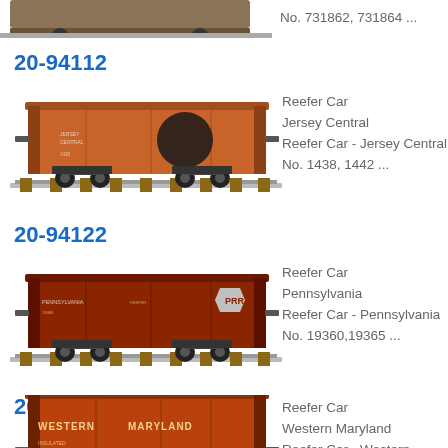No. 731862, 731864  ...
20-94112
[Figure (photo): Model train reefer car in orange with Jersey Central markings on tracks]
Reefer Car
Jersey Central
Reefer Car - Jersey Central
No. 1438, 1442  ...
20-94122
[Figure (photo): Model train reefer car in dark brown/red with Pennsylvania Railroad markings on tracks]
Reefer Car
Pennsylvania
Reefer Car - Pennsylvania
No. 19360,19365  ...
20-94139
[Figure (photo): Model train reefer car in orange with Western Maryland markings on tracks]
Reefer Car
Western Maryland
Reefer Car - Western